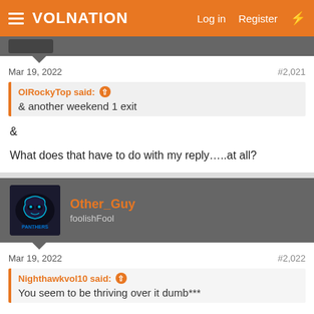VolNation — Log in  Register
Mar 19, 2022   #2,021
OlRockyTop said: ↑
& another weekend 1 exit
&

What does that have to do with my reply…..at all?
Other_Guy
foolishFool
Mar 19, 2022   #2,022
Nighthawkvol10 said: ↑
You seem to be thriving over it dumb***